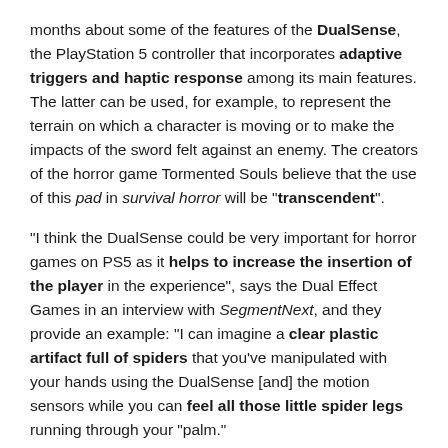months about some of the features of the DualSense, the PlayStation 5 controller that incorporates adaptive triggers and haptic response among its main features. The latter can be used, for example, to represent the terrain on which a character is moving or to make the impacts of the sword felt against an enemy. The creators of the horror game Tormented Souls believe that the use of this pad in survival horror will be "transcendent".
"I think the DualSense could be very important for horror games on PS5 as it helps to increase the insertion of the player in the experience", says the Dual Effect Games in an interview with SegmentNext, and they provide an example: "I can imagine a clear plastic artifact full of spiders that you've manipulated with your hands using the DualSense [and] the motion sensors while you can feel all those little spider legs running through your “palm.”